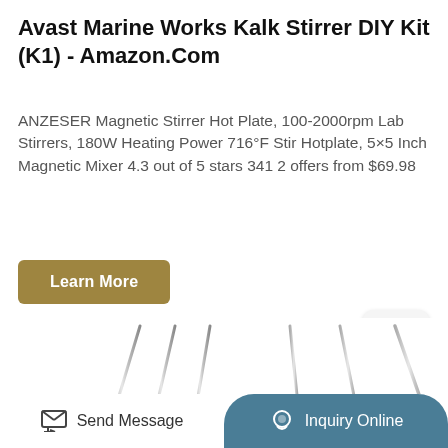Avast Marine Works Kalk Stirrer DIY Kit (K1) - Amazon.Com
ANZESER Magnetic Stirrer Hot Plate, 100-2000rpm Lab Stirrers, 180W Heating Power 716°F Stir Hotplate, 5×5 Inch Magnetic Mixer 4.3 out of 5 stars 341 2 offers from $69.98
[Figure (other): A gold/tan colored 'Learn More' button]
[Figure (other): A 'TOP' navigation button with upward caret arrow, light gray rounded square]
[Figure (photo): Multiple metallic needles or pins arranged diagonally, silver colored, visible from approximately bottom-third of page]
[Figure (other): Bottom bar with 'Send Message' on left (white background, icon) and 'Inquiry Online' on right (teal/blue rounded background, headset icon)]